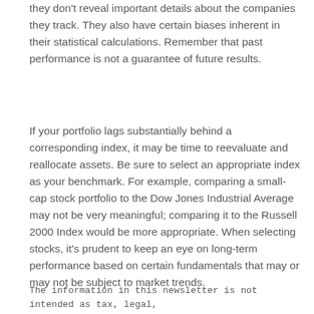they don't reveal important details about the companies they track. They also have certain biases inherent in their statistical calculations. Remember that past performance is not a guarantee of future results.
If your portfolio lags substantially behind a corresponding index, it may be time to reevaluate and reallocate assets. Be sure to select an appropriate index as your benchmark. For example, comparing a small-cap stock portfolio to the Dow Jones Industrial Average may not be very meaningful; comparing it to the Russell 2000 Index would be more appropriate. When selecting stocks, it's prudent to keep an eye on long-term performance based on certain fundamentals that may or may not be subject to market trends.
The information in this newsletter is not intended as tax, legal,